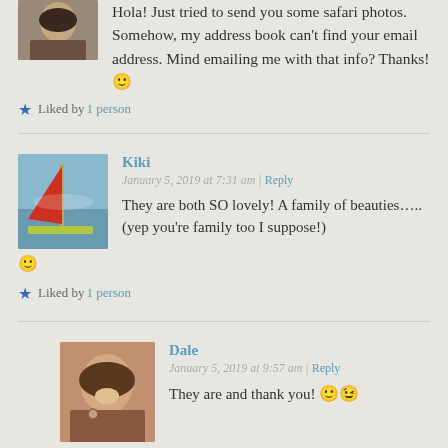Hola! Just tried to send you some safari photos. Somehow, my address book can't find your email address. Mind emailing me with that info? Thanks! 🙂
Liked by 1 person
Kiki
January 5, 2019 at 7:31 am | Reply
They are both SO lovely! A family of beauties….. (yep you're family too I suppose!) 🙂
Liked by 1 person
Dale
January 5, 2019 at 9:57 am | Reply
They are and thank you! 🙂😉